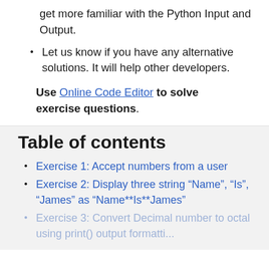get more familiar with the Python Input and Output.
Let us know if you have any alternative solutions. It will help other developers.
Use Online Code Editor to solve exercise questions.
Table of contents
Exercise 1: Accept numbers from a user
Exercise 2: Display three string “Name”, “Is”, “James” as “Name**Is**James”
Exercise 3: Convert Decimal number to octal using print() output formatting